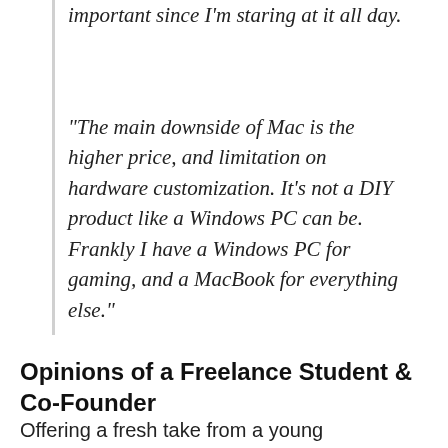important since I'm staring at it all day.
“The main downside of Mac is the higher price, and limitation on hardware customization. It’s not a DIY product like a Windows PC can be. Frankly I have a Windows PC for gaming, and a MacBook for everything else.”
Opinions of a Freelance Student & Co-Founder
Offering a fresh take from a young professional’s